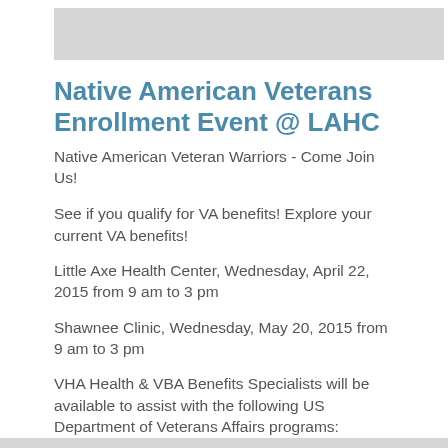[Figure (photo): Gray placeholder image bar at the top of the page]
Native American Veterans Enrollment Event @ LAHC
Native American Veteran Warriors - Come Join Us!
See if you qualify for VA benefits! Explore your current VA benefits!
Little Axe Health Center, Wednesday, April 22, 2015 from 9 am to 3 pm
Shawnee Clinic, Wednesday, May 20, 2015 from 9 am to 3 pm
VHA Health & VBA Benefits Specialists will be available to assist with the following US Department of Veterans Affairs programs: